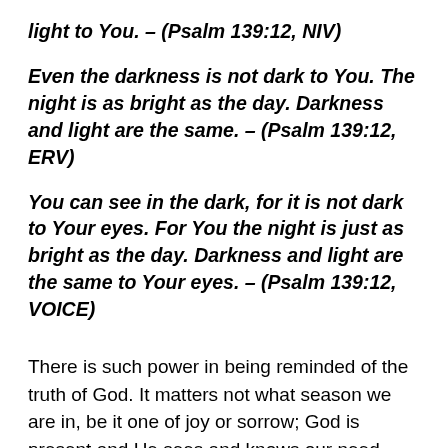light to You. – (Psalm 139:12, NIV)
Even the darkness is not dark to You. The night is as bright as the day. Darkness and light are the same. – (Psalm 139:12, ERV)
You can see in the dark, for it is not dark to Your eyes. For You the night is just as bright as the day. Darkness and light are the same to Your eyes. – (Psalm 139:12, VOICE)
There is such power in being reminded of the truth of God. It matters not what season we are in, be it one of joy or sorrow; God is present and He sees and knows our need. The people